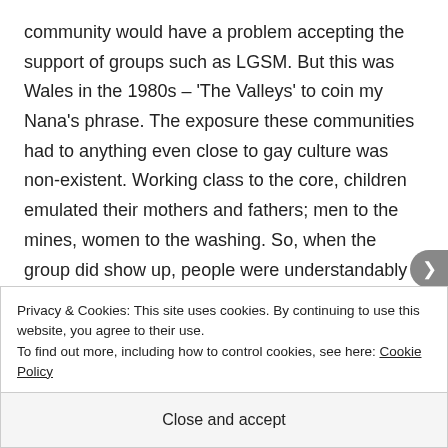community would have a problem accepting the support of groups such as LGSM. But this was Wales in the 1980s – 'The Valleys' to coin my Nana's phrase. The exposure these communities had to anything even close to gay culture was non-existent. Working class to the core, children emulated their mothers and fathers; men to the mines, women to the washing. So, when the group did show up, people were understandably confused, nervous and even a little bit scared. But Sian met this backlash head-on, even challenging her own husband's apparent
Privacy & Cookies: This site uses cookies. By continuing to use this website, you agree to their use.
To find out more, including how to control cookies, see here: Cookie Policy
Close and accept